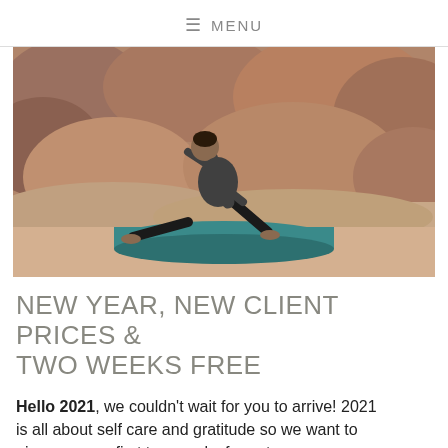≡ MENU
[Figure (photo): A person in a wide yoga warrior pose on a blue yoga mat placed on rocky terrain, with mountain rocky landscape in the background. The person wears a dark gray t-shirt and black pants, barefoot.]
NEW YEAR, NEW CLIENT PRICES & TWO WEEKS FREE
Hello 2021, we couldn't wait for you to arrive! 2021 is all about self care and gratitude so we want to give you your first two weeks free at new